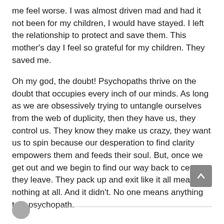me feel worse. I was almost driven mad and had it not been for my children, I would have stayed. I left the relationship to protect and save them. This mother's day I feel so grateful for my children. They saved me.
Oh my god, the doubt! Psychopaths thrive on the doubt that occupies every inch of our minds. As long as we are obsessively trying to untangle ourselves from the web of duplicity, then they have us, they control us. They know they make us crazy, they want us to spin because our desperation to find clarity empowers them and feeds their soul. But, once we get out and we begin to find our way back to center, they leave. They pack up and exit like it all meant nothing at all. And it didn't. No one means anything to a psychopath.